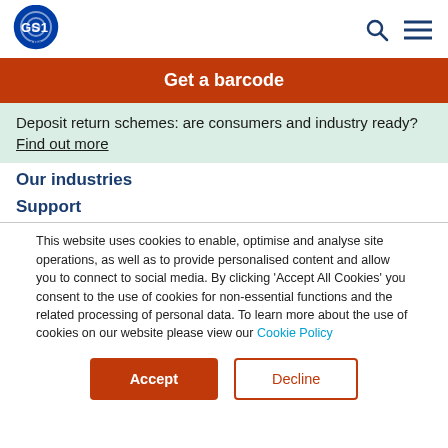[Figure (logo): GS1 UK logo — blue concentric circle globe mark with GS1 text and UK below]
Get a barcode
Deposit return schemes: are consumers and industry ready? Find out more
Our industries
Support
This website uses cookies to enable, optimise and analyse site operations, as well as to provide personalised content and allow you to connect to social media. By clicking 'Accept All Cookies' you consent to the use of cookies for non-essential functions and the related processing of personal data. To learn more about the use of cookies on our website please view our Cookie Policy
Accept
Decline